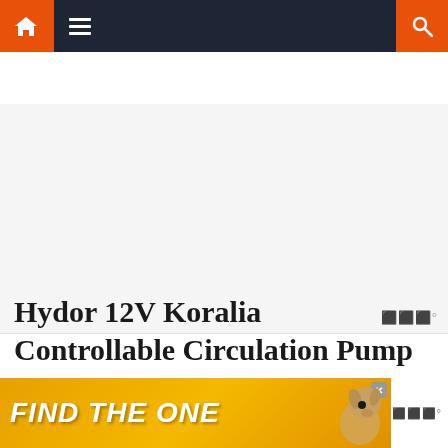Navigation bar with home, menu, and search icons
[Figure (other): Advertisement placeholder area, light gray background with watermark symbol at bottom right]
Hydor 12V Koralia Controllable Circulation Pump
[Figure (other): Bottom banner advertisement with golden/orange background showing text FIND THE ONE with a dog image on the right side]